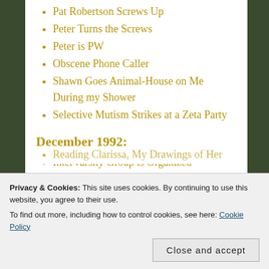Pat Robertson Screws Up
Peter Turns the Screws
Peter is PW
Obscene Phone Caller
Shawn Goes Animal-House on Me During my Shower
Selective Mutism Strikes at a Zeta Party
December 1992:
InterVarsity Group is Organized
The Fire Burns Hotter; The Dreadful Night (Shawn Almost Goes Too Far)
Reading Clarissa, My Drawings of Her
Privacy & Cookies: This site uses cookies. By continuing to use this website, you agree to their use.
To find out more, including how to control cookies, see here: Cookie Policy